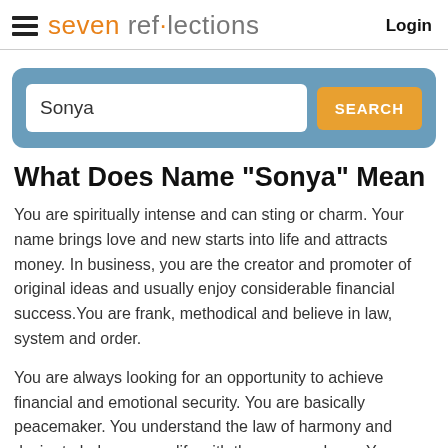seven reflections  Login
[Figure (screenshot): Search bar with text input showing 'Sonya' and an orange SEARCH button, on a blue/steel background panel]
What Does Name "Sonya" Mean
You are spiritually intense and can sting or charm. Your name brings love and new starts into life and attracts money. In business, you are the creator and promoter of original ideas and usually enjoy considerable financial success.You are frank, methodical and believe in law, system and order.
You are always looking for an opportunity to achieve financial and emotional security. You are basically peacemaker. You understand the law of harmony and desire to balance your life with those around you. You may feel incomplete without someone to share